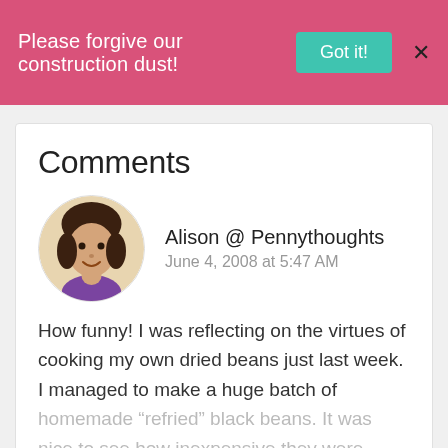Please forgive our construction dust! Got it! X
Comments
[Figure (photo): Circular avatar photo of a young woman with dark hair, smiling, wearing a purple top.]
Alison @ Pennythoughts
June 4, 2008 at 5:47 AM
How funny! I was reflecting on the virtues of cooking my own dried beans just last week. I managed to make a huge batch of homemade “refried” black beans. It was nice to see how inexpensive they were compared